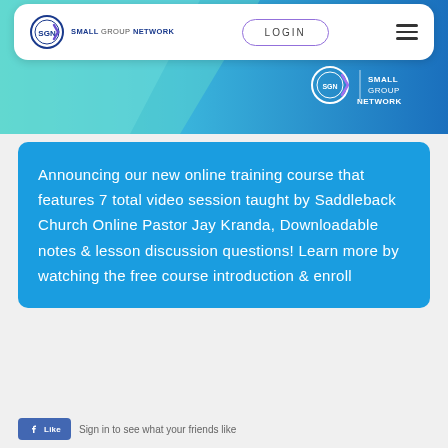[Figure (screenshot): Website header/navigation bar for Small Group Network with SGN logo on left, LOGIN button in center, and hamburger menu on right]
[Figure (screenshot): Hero banner image with teal/blue gradient background and Small Group Network SGN logo on right side]
Announcing our new online training course that features 7 total video session taught by Saddleback Church Online Pastor Jay Kranda, Downloadable notes & lesson discussion questions! Learn more by watching the free course introduction & enroll
[Figure (logo): Facebook Like button]